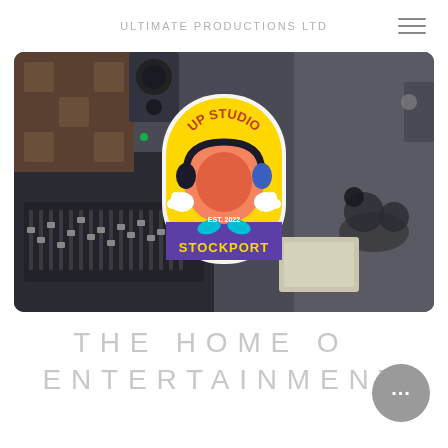ULTIMATE PRODUCTIONS LTD
[Figure (photo): Recording studio interior with mixing console in foreground and drums in background, overlaid with a colorful cartoon sticker logo showing a peach character wearing headphones with text 'UP STUDIO STOCKPORT EST. 2022' on a yellow and purple badge]
THE HOME OF ENTERTAINMENT